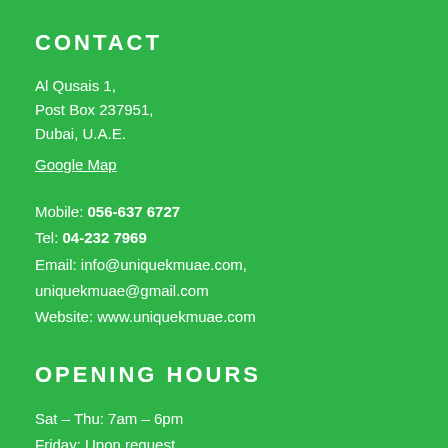CONTACT
Al Qusais 1,
Post Box 237951,
Dubai, U.A.E.
Google Map
Mobile: 056-637 6727
Tel: 04-232 7969
Email: info@uniquekmuae.com, uniquekmuae@gmail.com
Website: www.uniquekmuae.com
OPENING HOURS
Sat – Thu: 7am – 6pm
Friday: Upon request.
[Figure (illustration): Social media icons: Facebook, Twitter, Google+]